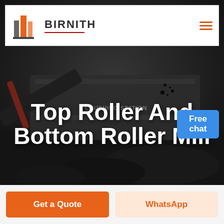[Figure (logo): Birnith company logo: orange and grey building/pillar icon with brand name BIRNITH in bold uppercase letters and a red underline, plus orange hamburger menu icon on the right]
[Figure (photo): Industrial crushing station machinery with conveyor belt loading coal/rock material, dark moody industrial background photo with overlaid title text]
Top Roller And Bottom Roller Mill
[Figure (illustration): Blue chat bubble with text 'Free chat' and a customer service representative illustration]
Get a Quote
WhatsApp